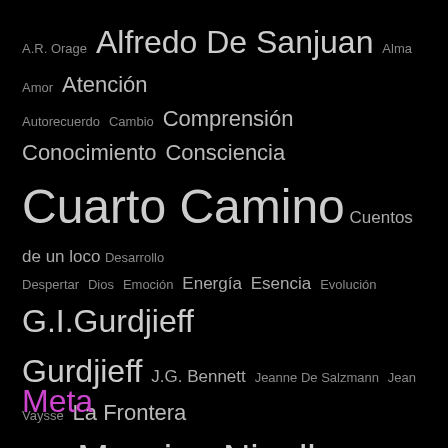[Figure (other): Tag cloud with Spanish-language terms related to Fourth Way / Gurdjieff philosophy, on black background. Terms vary in size indicating frequency/importance.]
Meta